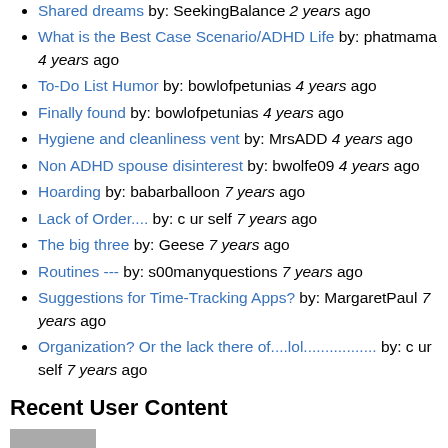Shared dreams by: SeekingBalance 2 years ago
What is the Best Case Scenario/ADHD Life by: phatmama 4 years ago
To-Do List Humor by: bowlofpetunias 4 years ago
Finally found by: bowlofpetunias 4 years ago
Hygiene and cleanliness vent by: MrsADD 4 years ago
Non ADHD spouse disinterest by: bwolfe09 4 years ago
Hoarding by: babarballoon 7 years ago
Lack of Order.... by: c ur self 7 years ago
The big three by: Geese 7 years ago
Routines --- by: s00manyquestions 7 years ago
Suggestions for Time-Tracking Apps? by: MargaretPaul 7 years ago
Organization? Or the lack there of....lol................. by: c ur self 7 years ago
Recent User Content
[Figure (photo): Thumbnail image partially visible at bottom of page]